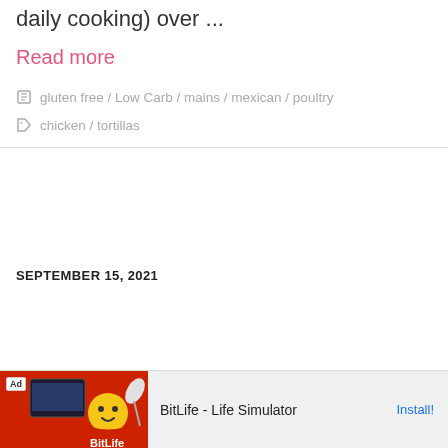daily cooking) over ...
Read more
gluten free / Low Carb / mains / mexican / poultry
chicken / tortillas
SEPTEMBER 15, 2021
[Figure (screenshot): Advertisement banner for BitLife - Life Simulator with Install button]